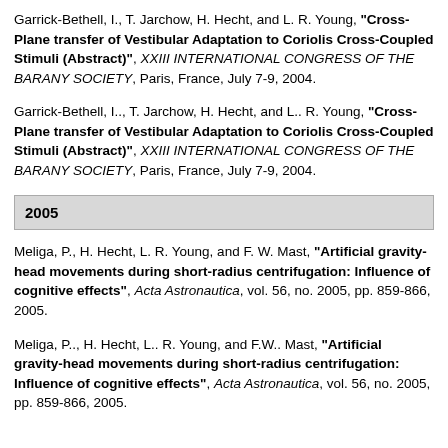Garrick-Bethell, I., T. Jarchow, H. Hecht, and L. R. Young, "Cross-Plane transfer of Vestibular Adaptation to Coriolis Cross-Coupled Stimuli (Abstract)", XXIII INTERNATIONAL CONGRESS OF THE BARANY SOCIETY, Paris, France, July 7-9, 2004.
Garrick-Bethell, I.., T. Jarchow, H. Hecht, and L.. R. Young, "Cross-Plane transfer of Vestibular Adaptation to Coriolis Cross-Coupled Stimuli (Abstract)", XXIII INTERNATIONAL CONGRESS OF THE BARANY SOCIETY, Paris, France, July 7-9, 2004.
2005
Meliga, P., H. Hecht, L. R. Young, and F. W. Mast, "Artificial gravity-head movements during short-radius centrifugation: Influence of cognitive effects", Acta Astronautica, vol. 56, no. 2005, pp. 859-866, 2005.
Meliga, P.., H. Hecht, L.. R. Young, and F.W.. Mast, "Artificial gravity-head movements during short-radius centrifugation: Influence of cognitive effects", Acta Astronautica, vol. 56, no. 2005, pp. 859-866, 2005.